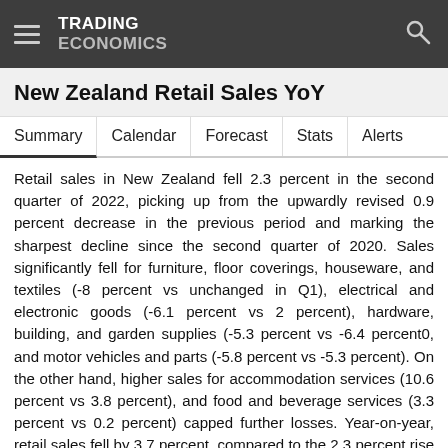TRADING ECONOMICS
New Zealand Retail Sales YoY
Summary  Calendar  Forecast  Stats  Alerts
Retail sales in New Zealand fell 2.3 percent in the second quarter of 2022, picking up from the upwardly revised 0.9 percent decrease in the previous period and marking the sharpest decline since the second quarter of 2020. Sales significantly fell for furniture, floor coverings, houseware, and textiles (-8 percent vs unchanged in Q1), electrical and electronic goods (-6.1 percent vs 2 percent), hardware, building, and garden supplies (-5.3 percent vs -6.4 percent0, and motor vehicles and parts (-5.8 percent vs -5.3 percent). On the other hand, higher sales for accommodation services (10.6 percent vs 3.8 percent), and food and beverage services (3.3 percent vs 0.2 percent) capped further losses. Year-on-year, retail sales fell by 3.7 percent, compared to the 2.3 percent rise in the quarter ending in March. source: Statistics New Zealand